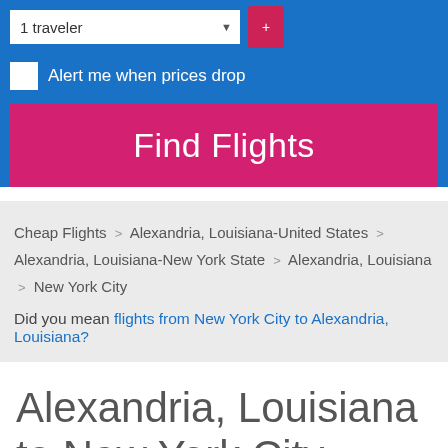1 traveler
Alert me when prices drop
Find Flights
Cheap Flights > Alexandria, Louisiana-United States > Alexandria, Louisiana-New York State > Alexandria, Louisiana > New York City
Did you mean flights from New York City to Alexandria, Louisiana?
Alexandria, Louisiana to New York City